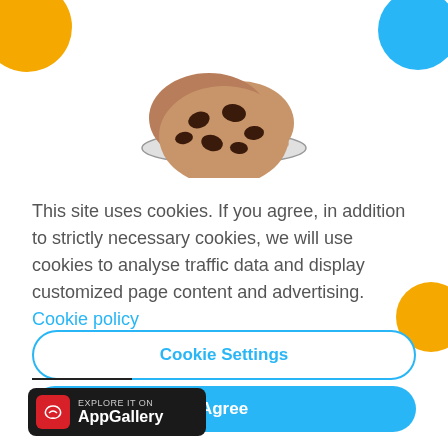[Figure (illustration): Chocolate chip cookies on a plate illustration]
This site uses cookies. If you agree, in addition to strictly necessary cookies, we will use cookies to analyse traffic data and display customized page content and advertising. Cookie policy
Cookie Settings
Agree
[Figure (logo): Huawei AppGallery badge with text: EXPLORE IT ON AppGallery]